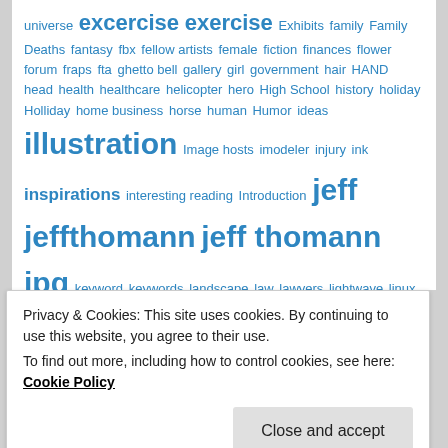universe excercise exercise Exhibits family Family Deaths fantasy fbx fellow artists female fiction finances flower forum fraps fta ghetto bell gallery girl government hair HAND head health healthcare helicopter hero High School history holiday Holliday home business horse human Humor ideas illustration Image hosts imodeler injury ink inspirations interesting reading Introduction jeff jeffthomann jeff thomann jpg keyword keywords landscape law lawyers lightwave linux literature Lulu lw lwo lws mall small man Mandala MANIFESTO Maria's Blog Marker mastermesh
Privacy & Cookies: This site uses cookies. By continuing to use this website, you agree to their use. To find out more, including how to control cookies, see here: Cookie Policy
Close and accept